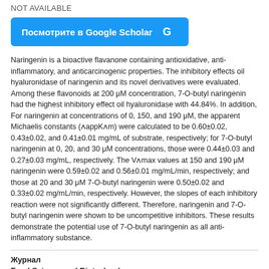NOT AVAILABLE
[Figure (other): Blue button labeled 'Посмотрите в Google Scholar' with Google G logo]
Naringenin is a bioactive flavanone containing antioxidative, anti-inflammatory, and anticarcinogenic properties. The inhibitory effects oil hyaluronidase of naringenin and its novel derivatives were evaluated. Among these flavonoids at 200 μM concentration, 7-O-butyl naringenin had the highest inhibitory effect oil hyaluronidase with 44.84%. In addition, For naringenin at concentrations of 0, 150, and 190 μM, the apparent Michaelis constants (ʌappKʌm) were calculated to be 0.60±0.02, 0.43±0.02, and 0.41±0.01 mg/mL of substrate, respectively; for 7-O-butyl naringenin at 0, 20, and 30 μM concentrations, those were 0.44±0.03 and 0.27±0.03 mg/mL, respectively. The Vʌmax values at 150 and 190 μM naringenin were 0.59±0.02 and 0.56±0.01 mg/mL/min, respectively; and those at 20 and 30 μM 7-O-butyl naringenin were 0.50±0.02 and 0.33±0.02 mg/mL/min, respectively. However, the slopes of each inhibitory reaction were not significantly different. Therefore, naringenin and 7-O-butyl naringenin were shown to be uncompetitive inhibitors. These results demonstrate the potential use of 7-O-butyl naringenin as all anti-inflammatory substance.
Журнал
Food Science and Biotechnology
ISSN : 1226-7708